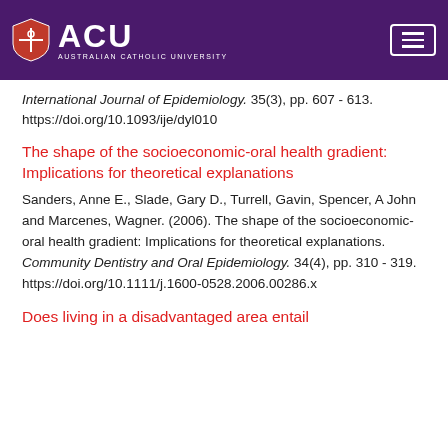ACU - Australian Catholic University
International Journal of Epidemiology. 35(3), pp. 607 - 613. https://doi.org/10.1093/ije/dyl010
The shape of the socioeconomic-oral health gradient: Implications for theoretical explanations
Sanders, Anne E., Slade, Gary D., Turrell, Gavin, Spencer, A John and Marcenes, Wagner. (2006). The shape of the socioeconomic-oral health gradient: Implications for theoretical explanations. Community Dentistry and Oral Epidemiology. 34(4), pp. 310 - 319. https://doi.org/10.1111/j.1600-0528.2006.00286.x
Does living in a disadvantaged area entail